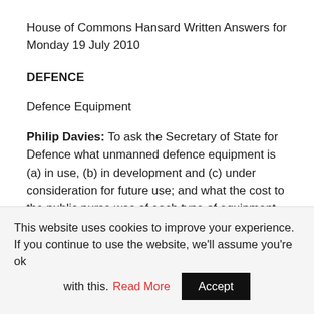House of Commons Hansard Written Answers for Monday 19 July 2010
DEFENCE
Defence Equipment
Philip Davies: To ask the Secretary of State for Defence what unmanned defence equipment is (a) in use, (b) in development and (c) under consideration for future use; and what the cost to the public purse was of each type of equipment programme on the latest date for which figures are
This website uses cookies to improve your experience. If you continue to use the website, we'll assume you're ok with this. Read More Accept